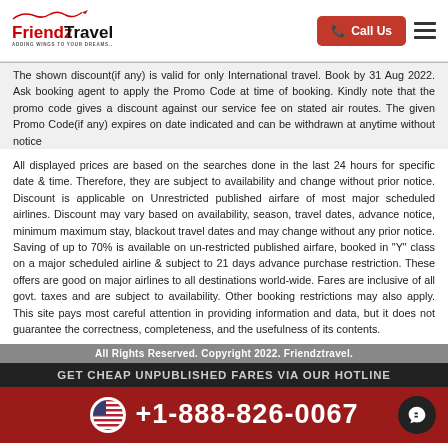Friendz Travel – ADDING WINGS TO YOUR DREAMS..
The shown discount(if any) is valid for only International travel. Book by 31 Aug 2022. Ask booking agent to apply the Promo Code at time of booking. Kindly note that the promo code gives a discount against our service fee on stated air routes. The given Promo Code(if any) expires on date indicated and can be withdrawn at anytime without notice
All displayed prices are based on the searches done in the last 24 hours for specific date & time. Therefore, they are subject to availability and change without prior notice. Discount is applicable on Unrestricted published airfare of most major scheduled airlines. Discount may vary based on availability, season, travel dates, advance notice, minimum maximum stay, blackout travel dates and may change without any prior notice. Saving of up to 70% is available on un-restricted published airfare, booked in "Y" class on a major scheduled airline & subject to 21 days advance purchase restriction. These offers are good on major airlines to all destinations world-wide. Fares are inclusive of all govt. taxes and are subject to availability. Other booking restrictions may also apply. This site pays most careful attention in providing information and data, but it does not guarantee the correctness, completeness, and the usefulness of its contents.
All Rights Reserved. Copyright 2022. Friendztravel.
GET CHEAP UNPUBLISHED FARES VIA OUR HOTLINE
+1-888-826-0067